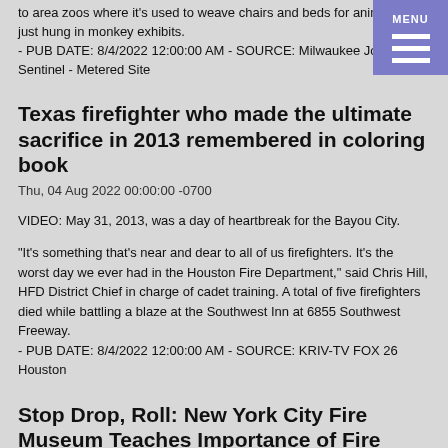to area zoos where it's used to weave chairs and beds for animals or just hung in monkey exhibits.
- PUB DATE: 8/4/2022 12:00:00 AM - SOURCE: Milwaukee Journal Sentinel - Metered Site
Texas firefighter who made the ultimate sacrifice in 2013 remembered in coloring book
Thu, 04 Aug 2022 00:00:00 -0700
VIDEO: May 31, 2013, was a day of heartbreak for the Bayou City.
"It's something that's near and dear to all of us firefighters. It's the worst day we ever had in the Houston Fire Department," said Chris Hill, HFD District Chief in charge of cadet training. A total of five firefighters died while battling a blaze at the Southwest Inn at 6855 Southwest Freeway.
- PUB DATE: 8/4/2022 12:00:00 AM - SOURCE: KRIV-TV FOX 26 Houston
Stop Drop, Roll: New York City Fire Museum Teaches Importance of Fire Safety
Thu, 04 Aug 2022 00:00:00 -0700
VIDEO: What's the first thing you should do in the event of a fire? The New York City Fire Museum...